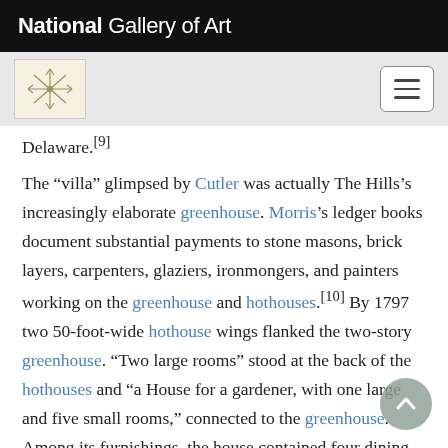National Gallery of Art
Delaware. [9]
The “villa” glimpsed by Cutler was actually The Hills’s increasingly elaborate greenhouse. Morris’s ledger books document substantial payments to stone masons, brick layers, carpenters, glaziers, ironmongers, and painters working on the greenhouse and hothouses.[10] By 1797 two 50-foot-wide hothouse wings flanked the two-story greenhouse. “Two large rooms” stood at the back of the hothouses and “a House for a gardener, with one large and five small rooms,” connected to the greenhouse. Among its furnishings, the house contained four dining tables with chairs and place settings for eighteen